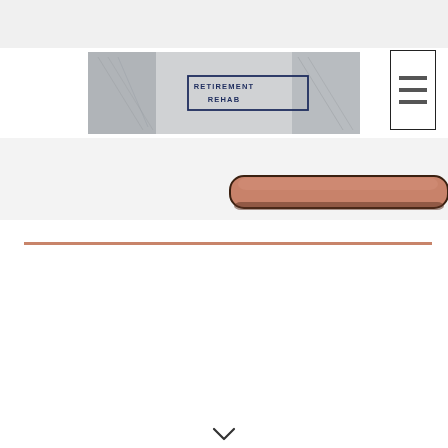[Figure (logo): Retirement Rehab logo banner with architectural background image and text 'RETIREMENT REHAB' in dark blue uppercase letters inside a rectangle border]
[Figure (other): Hamburger/menu icon button — three horizontal dark lines inside a square bordered box, positioned top right]
[Figure (other): Tablet device shown partially in rose/copper color, positioned at the right side of the sub-navigation gray bar area]
[Figure (other): Horizontal rose/copper colored divider line spanning most of the page width]
[Figure (other): Small chevron/arrow pointing downward at the bottom center of the page]